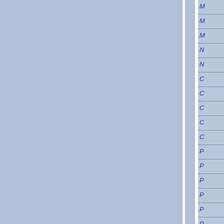[Figure (other): Navigation index sidebar with blue italic letter labels on light blue background, separated by a white vertical divider from the main content area. The sidebar shows partial letter labels: M, M, M, N, N, C, C, C, C, C, P, P, P, P, P, P]
M
M
M
N
N
C
C
C
C
C
P
P
P
P
P
P